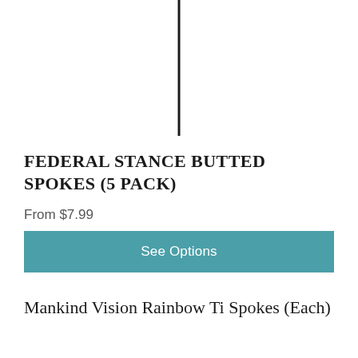[Figure (photo): A thin black spoke or rod against a white background, shown vertically]
FEDERAL STANCE BUTTED SPOKES (5 PACK)
From $7.99
See Options
Mankind Vision Rainbow Ti Spokes (Each)